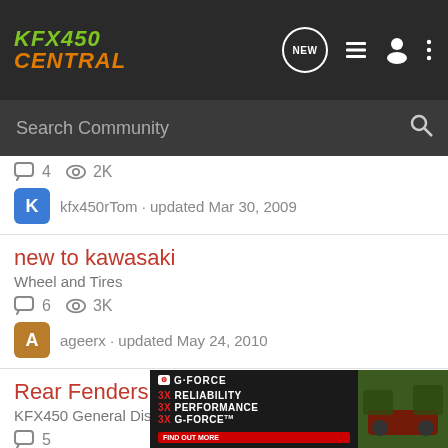KFX450 CENTRAL
Search Community
4  2K  kfx450rTom · updated Mar 30, 2009
new to kawasaki
Wheel and Tires
6  3K  ageerx · updated May 24, 2010
Rear Fenders Removed
KFX450 General Discussion
5
[Figure (screenshot): G-FORCE advertisement banner: 3X RELIABILITY, 3X PERFORMANCE, 3X G-FORCE with FIND OUT MORE button and ATV photo on right]